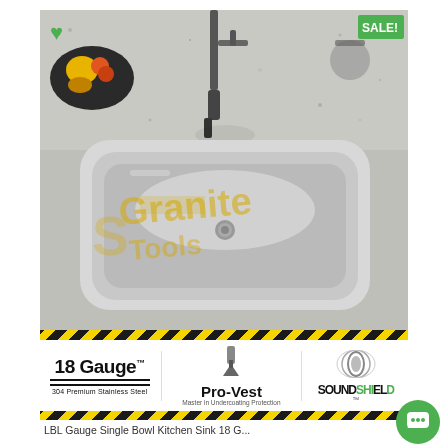[Figure (photo): Top-down view of a stainless steel single-bowl undermount kitchen sink installed in granite countertop, with faucet visible. Granite Tools watermark overlay on the sink.]
SALE!
18 Gauge™
304 Premium Stainless Steel
Pro-Vest Master in Undercoating Protection
SOUNDSHIELD
LBL Gauge Single Bowl Kitchen Sink 18 G...